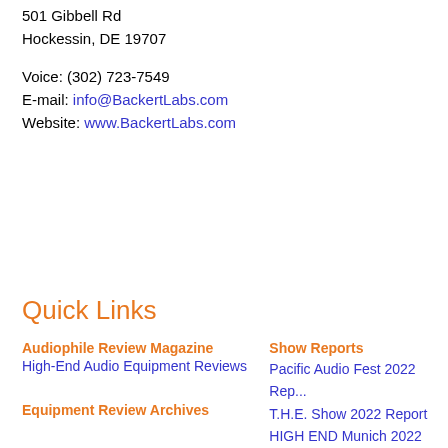501 Gibbell Rd
Hockessin, DE 19707
Voice: (302) 723-7549
E-mail: info@BackertLabs.com
Website: www.BackertLabs.com
Quick Links
Audiophile Review Magazine
High-End Audio Equipment Reviews
Show Reports
Pacific Audio Fest 2022 Rep...
T.H.E. Show 2022 Report
HIGH END Munich 2022
AXPONA 2022 Show Repo...
CanJam Singapore 2022 Rep...
Equipment Review Archives